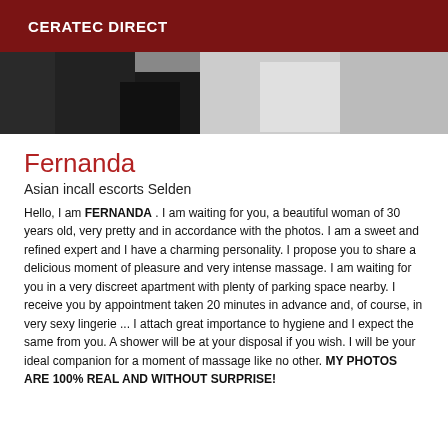CERATEC DIRECT
[Figure (photo): Partial photo showing what appears to be clothing and hands, in black and white tones]
Fernanda
Asian incall escorts Selden
Hello, I am FERNANDA . I am waiting for you, a beautiful woman of 30 years old, very pretty and in accordance with the photos. I am a sweet and refined expert and I have a charming personality. I propose you to share a delicious moment of pleasure and very intense massage. I am waiting for you in a very discreet apartment with plenty of parking space nearby. I receive you by appointment taken 20 minutes in advance and, of course, in very sexy lingerie ... I attach great importance to hygiene and I expect the same from you. A shower will be at your disposal if you wish. I will be your ideal companion for a moment of massage like no other. MY PHOTOS ARE 100% REAL AND WITHOUT SURPRISE!